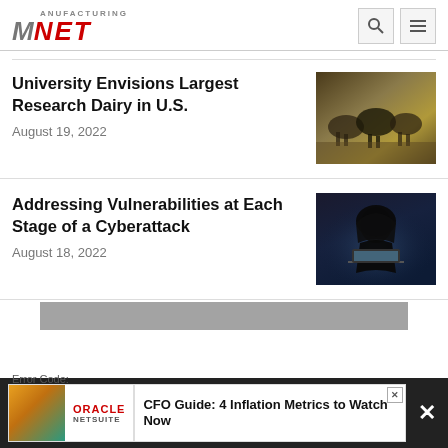[Figure (logo): Manufacturing.NET logo with stylized M icon in gray and NET in red italic text]
University Envisions Largest Research Dairy in U.S.
August 19, 2022
[Figure (photo): Photo of dairy cows in a barn setting]
Addressing Vulnerabilities at Each Stage of a Cyberattack
August 18, 2022
[Figure (photo): Photo of a hooded figure sitting at a laptop, representing a cybercriminal]
[Figure (screenshot): Oracle NetSuite advertisement banner: CFO Guide: 4 Inflation Metrics to Watch Now]